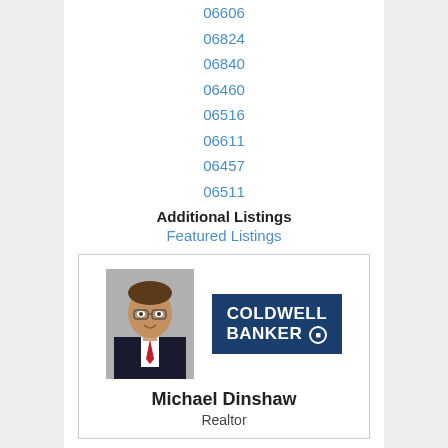06606
06824
06840
06460
06516
06611
06457
06511
Additional Listings
Featured Listings
[Figure (photo): Headshot of Michael Dinshaw, a man in a dark suit and red tie wearing glasses, next to a Coldwell Banker logo]
Michael Dinshaw
Realtor